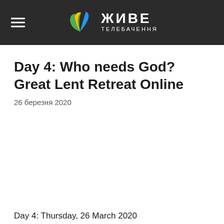ЖИВЕ ТЕЛЕБАЧЕННЯ
Day 4: Who needs God? Great Lent Retreat Online
26 березня 2020
Day 4: Thursday, 26 March 2020